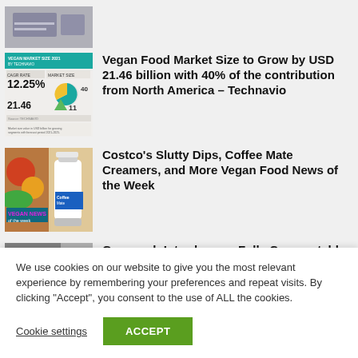[Figure (screenshot): Partially visible top thumbnail image, cropped]
[Figure (screenshot): Vegan Food Market infographic thumbnail with teal header, showing 12.25%, 21.46, and other statistics with pie chart and arrow icons]
Vegan Food Market Size to Grow by USD 21.46 billion with 40% of the contribution from North America – Technavio
[Figure (photo): Colorful vegan food news image with vegetables, cream bottle, and text 'VEGAN NEWS of the week']
Costco's Slutty Dips, Coffee Mate Creamers, and More Vegan Food News of the Week
[Figure (photo): Partially visible bottom thumbnail image, cropped]
Gomorrah Introduces a Fully Compostable
We use cookies on our website to give you the most relevant experience by remembering your preferences and repeat visits. By clicking "Accept", you consent to the use of ALL the cookies.
Cookie settings
ACCEPT